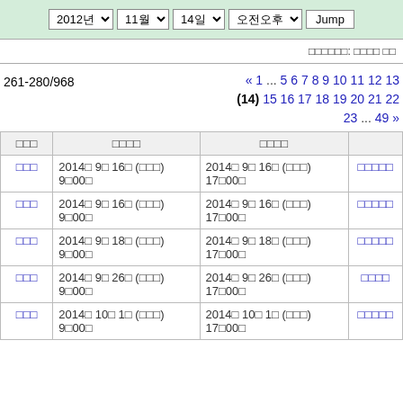[Figure (screenshot): Navigation bar with dropdowns for 2012년, 11월, 14일, 오전오후 and a Jump button]
□□□□□□: □□□□ □□
261-280/968
« 1 ... 5 6 7 8 9 10 11 12 13 (14) 15 16 17 18 19 20 21 22 23 ... 49 »
| □□□ | □□□□ | □□□□ |  |
| --- | --- | --- | --- |
| □□□ | 2014□ 9□ 16□ (□□□)
9□00□ | 2014□ 9□ 16□ (□□□)
17□00□ | □□□□□ |
| □□□ | 2014□ 9□ 16□ (□□□)
9□00□ | 2014□ 9□ 16□ (□□□)
17□00□ | □□□□□ |
| □□□ | 2014□ 9□ 18□ (□□□)
9□00□ | 2014□ 9□ 18□ (□□□)
17□00□ | □□□□□ |
| □□□ | 2014□ 9□ 26□ (□□□)
9□00□ | 2014□ 9□ 26□ (□□□)
17□00□ | □□□□ |
| □□□ | 2014□ 10□ 1□ (□□□)
9□00□ | 2014□ 10□ 1□ (□□□)
17□00□ | □□□□□ |